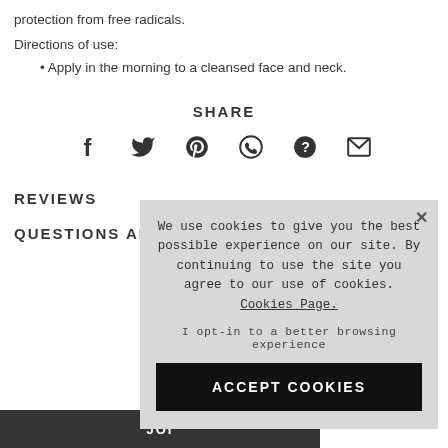protection from free radicals.
Directions of use:
Apply in the morning to a cleansed face and neck.
SHARE
[Figure (infographic): Social share icons: Facebook, Twitter, Pinterest, WhatsApp, unknown, Email]
REVIEWS
QUESTIONS AN
We use cookies to give you the best possible experience on our site. By continuing to use the site you agree to our use of cookies. Cookies Page. I opt-in to a better browsing experience
ACCEPT COOKIES
JOI